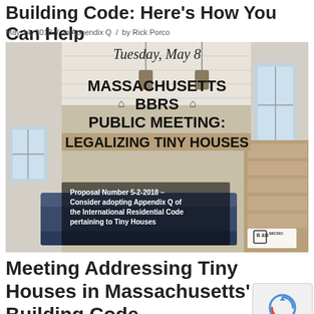Building Code: Here's How You Can Help
May 14, 2018 / In Appendix Q / by Rick Porco
[Figure (photo): Interior of a tiny house with text overlay: 'Tuesday, May 8 MASSACHUSETTS BBRS PUBLIC MEETING: LEGALIZING TINY HOUSES. Proposal Number 5-2-2018 – Consider adopting Appendix Q of the International Residential Code pertaining to Tiny Houses'. B&B Micro logo in bottom right corner.]
Meeting Addressing Tiny Houses in Massachusetts' Building Code